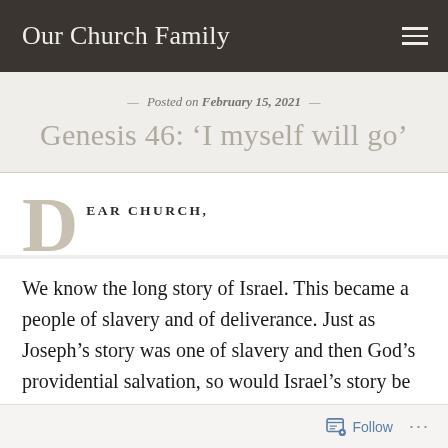Our Church Family
Posted on February 15, 2021
Genesis 46: 'I myself will go'
DEAR CHURCH,
We know the long story of Israel. This became a people of slavery and of deliverance. Just as Joseph's story was one of slavery and then God's providential salvation, so would Israel's story be the
Follow